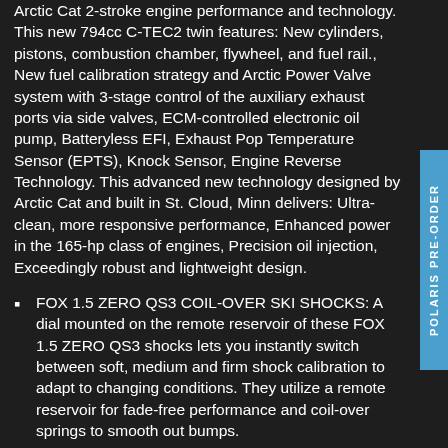Arctic Cat 2-stroke engine performance and technology. This new 794cc C-TEC2 twin features: New cylinders, pistons, combustion chamber, flywheel, and fuel rail., New fuel calibration strategy and Arctic Power Valve system with 3-stage control of the auxiliary exhaust ports via side valves, ECM-controlled electronic oil pump, Batteryless EFI, Exhaust Pop Temperature Sensor (EPTS), Knock Sensor, Engine Reverse Technology. This advanced new technology designed by Arctic Cat and built in St. Cloud, Minn delivers: Ultra-clean, more responsive performance, Enhanced power in the 165-hp class of engines, Precision oil injection, Exceedingly robust and lightweight design.
FOX 1.5 ZERO QS3 COIL-OVER SKI SHOCKS: A dial mounted on the remote reservoir of these FOX 1.5 ZERO QS3 shocks lets you instantly switch between soft, medium and firm shock calibration to adapt to changing conditions. They utilize a remote reservoir for fade-free performance and coil-over springs to smooth out bumps.
ADAPT CVT SYSTEM: Lightweight narrow design that